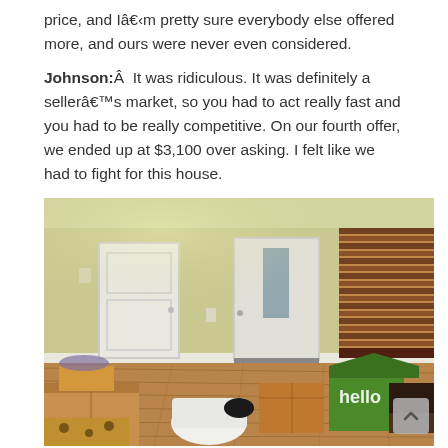price, and I'm pretty sure everybody else offered more, and ours were never even considered.
Johnson:  It was ridiculous. It was definitely a seller’s market, so you had to act really fast and you had to be really competitive. On our fourth offer, we ended up at $3,100 over asking. I felt like we had to fight for this house.
[Figure (photo): Interior photo of an empty room with hardwood floors, white doors, a front door with a narrow window, bamboo/wood blinds on the right window, and moving boxes scattered on the floor including a green 'Hello' branded box.]